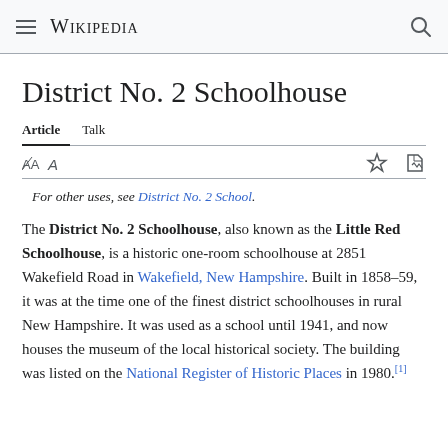Wikipedia
District No. 2 Schoolhouse
Article  Talk
For other uses, see District No. 2 School.
The District No. 2 Schoolhouse, also known as the Little Red Schoolhouse, is a historic one-room schoolhouse at 2851 Wakefield Road in Wakefield, New Hampshire. Built in 1858–59, it was at the time one of the finest district schoolhouses in rural New Hampshire. It was used as a school until 1941, and now houses the museum of the local historical society. The building was listed on the National Register of Historic Places in 1980.[1]